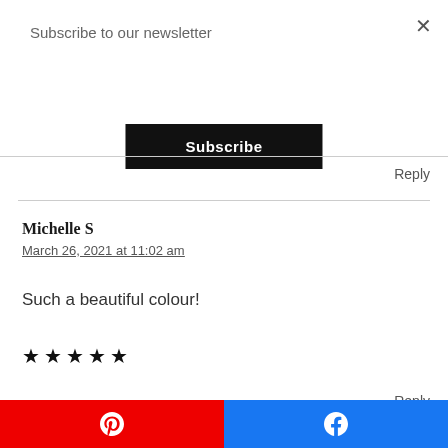Subscribe to our newsletter
Subscribe
Reply
Michelle S
March 26, 2021 at 11:02 am
Such a beautiful colour!
★★★★★
Reply
[Figure (other): Pinterest and Facebook social share buttons at the bottom of the page]